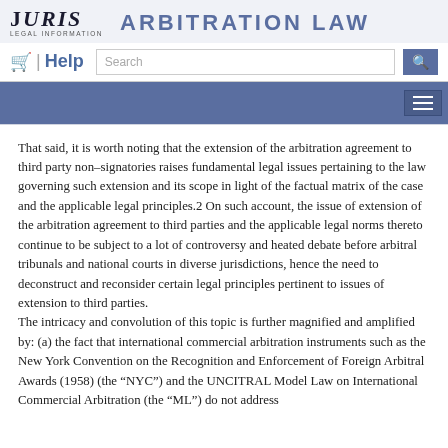JURIS LEGAL INFORMATION — ARBITRATION LAW
That said, it is worth noting that the extension of the arbitration agreement to third party non-signatories raises fundamental legal issues pertaining to the law governing such extension and its scope in light of the factual matrix of the case and the applicable legal principles.2 On such account, the issue of extension of the arbitration agreement to third parties and the applicable legal norms thereto continue to be subject to a lot of controversy and heated debate before arbitral tribunals and national courts in diverse jurisdictions, hence the need to deconstruct and reconsider certain legal principles pertinent to issues of extension to third parties.
The intricacy and convolution of this topic is further magnified and amplified by: (a) the fact that international commercial arbitration instruments such as the New York Convention on the Recognition and Enforcement of Foreign Arbitral Awards (1958) (the “NYC”) and the UNCITRAL Model Law on International Commercial Arbitration (the “ML”) do not address